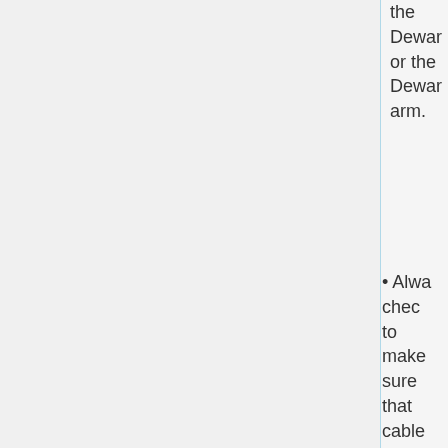the Dewar or the Dewar arm.
Always check to make sure that cables are not on the track before moving the